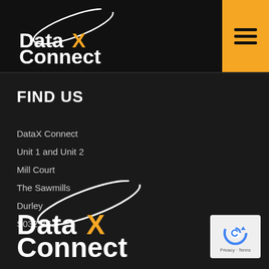[Figure (logo): DataX Connect logo with white text 'Data' and orange 'X' and 'Connect', with a white arc/orbit graphic above]
[Figure (other): Hamburger menu icon (three horizontal lines) on a yellow/orange background square]
FIND US
DataX Connect
Unit 1 and Unit 2
Mill Court
The Sawmills
Durley
S032 2EJ
[Figure (logo): DataX Connect logo (larger) with white text 'Data' and orange 'X' and 'Connect', with a white arc/orbit graphic above]
[Figure (other): Google reCAPTCHA badge with blue circular arrow icon, small 'Privacy - Terms' text below]